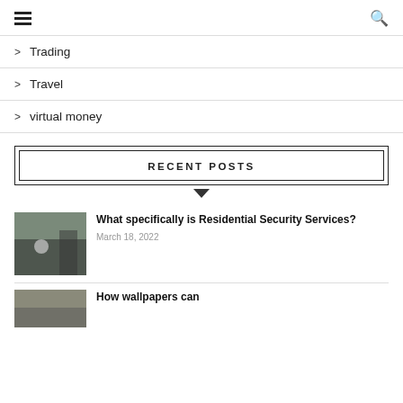[hamburger menu] [search icon]
Trading
Travel
virtual money
RECENT POSTS
What specifically is Residential Security Services? — March 18, 2022
How wallpapers can